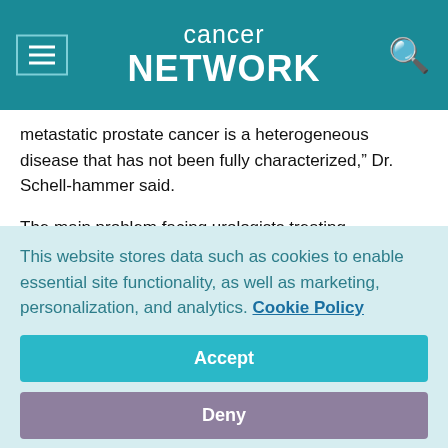cancer network
metastatic prostate cancer is a heterogeneous disease that has not been fully characterized,” Dr. Schell-hammer said.
The main problem facing urologists treating metastatic prostate cancer is to define the importance of blocking adrenal androgens in suppressing disease and delaying the appearance of hormone-refractory disease.
Dr. Schellhammer advocates using the following four fundamental categories proposed by Scher et al (J Natl Cancer Inst 88:1633…
This website stores data such as cookies to enable essential site functionality, as well as marketing, personalization, and analytics. Cookie Policy
Accept
Deny